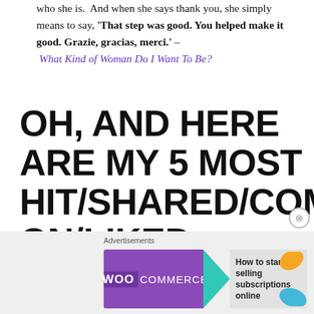who she is.  And when she says thank you, she simply means to say, 'That step was good. You helped make it good. Grazie, gracias, merci.' – What Kind of Woman Do I Want To Be?
OH, AND HERE ARE MY 5 MOST HIT/SHARED/COMMENTED ON/LIKED POSTS OF THE YEAR:
[Figure (screenshot): WooCommerce advertisement banner: 'How to start selling subscriptions online']